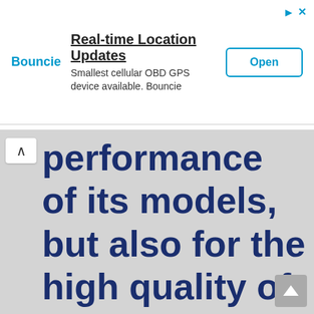[Figure (screenshot): Advertisement banner for Bouncie. Shows brand name 'Bouncie' in blue, headline 'Real-time Location Updates', subtext 'Smallest cellular OBD GPS device available. Bouncie', and an 'Open' button with blue border.]
performance of its models, but also for the high quality of its monohulls which it uses for the production of boats that have always been aesthetically more